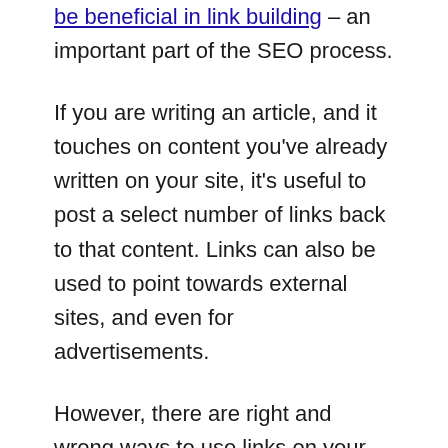be beneficial in link building — an important part of the SEO process.
If you are writing an article, and it touches on content you've already written on your site, it's useful to post a select number of links back to that content. Links can also be used to point towards external sites, and even for advertisements.
However, there are right and wrong ways to use links on your site. For example, behavior that's interpreted as spammy includes creating many links containing the exact